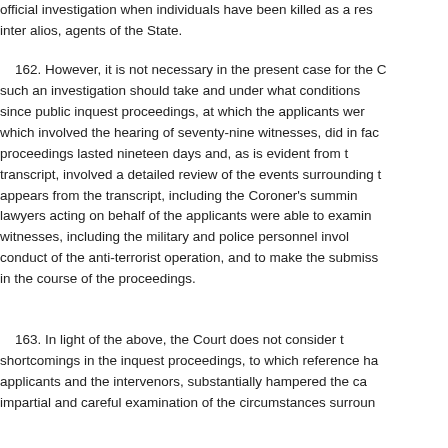official investigation when individuals have been killed as a result of, inter alios, agents of the State.
162. However, it is not necessary in the present case for the Court to spell out what form such an investigation should take and under what conditions it should be conducted, since public inquest proceedings, at which the applicants were represented by lawyers, which involved the hearing of seventy-nine witnesses, did in fact take place. These proceedings lasted nineteen days and, as is evident from the voluminous inquest transcript, involved a detailed review of the events surrounding the deaths. As appears from the transcript, including the Coroner's summing-up, the applicants' lawyers acting on behalf of the applicants were able to examine and cross-examine witnesses, including the military and police personnel involved both in the conduct of the anti-terrorist operation, and to make the submissions they wished in the course of the proceedings.
163. In light of the above, the Court does not consider that the alleged shortcomings in the inquest proceedings, to which reference has been made by the applicants and the intervenors, substantially hampered the carrying out of an impartial and careful examination of the circumstances surrounding the deaths.